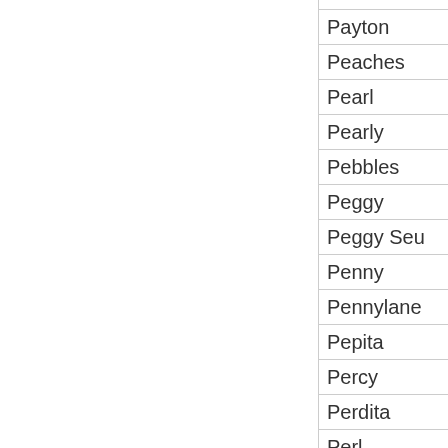| Pauline |
| Payton |
| Peaches |
| Pearl |
| Pearly |
| Pebbles |
| Peggy |
| Peggy Seu |
| Penny |
| Pennylane |
| Pepita |
| Percy |
| Perdita |
| Perl |
| Petronella |
| Phoebe |
| Piggy |
| Pinky |
| Precious |
| Primrose |
| Princess |
| Priscilla |